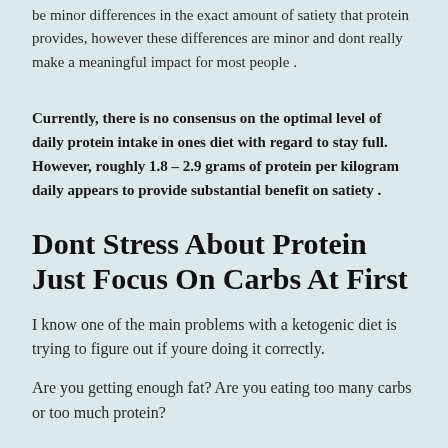be minor differences in the exact amount of satiety that protein provides, however these differences are minor and dont really make a meaningful impact for most people .
Currently, there is no consensus on the optimal level of daily protein intake in ones diet with regard to stay full. However, roughly 1.8 – 2.9 grams of protein per kilogram daily appears to provide substantial benefit on satiety .
Dont Stress About Protein Just Focus On Carbs At First
I know one of the main problems with a ketogenic diet is trying to figure out if youre doing it correctly.
Are you getting enough fat? Are you eating too many carbs or too much protein?